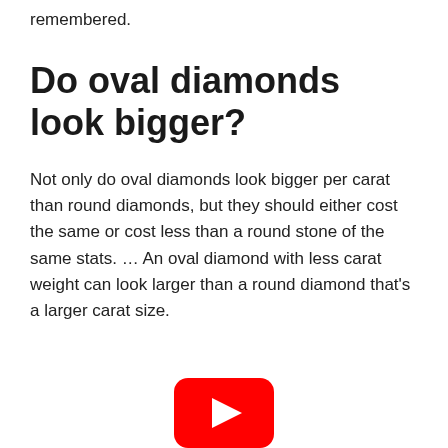remembered.
Do oval diamonds look bigger?
Not only do oval diamonds look bigger per carat than round diamonds, but they should either cost the same or cost less than a round stone of the same stats. … An oval diamond with less carat weight can look larger than a round diamond that's a larger carat size.
[Figure (other): YouTube play button icon, partially visible at bottom of page]